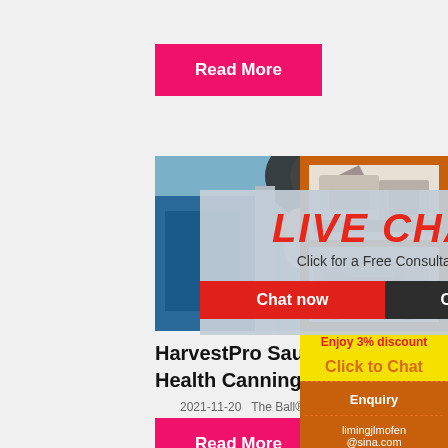[Figure (other): Pink 'Read More' button at top]
[Figure (photo): Industrial workers wearing yellow hard hats in a factory setting with machinery]
[Figure (other): Live Chat overlay with red 'LIVE CHAT' title, 'Click for a Free Consultation' subtitle, 'Chat now' and 'Chat later' buttons, and close X button]
[Figure (other): Right sidebar with orange background, machinery images, 'Enjoy 3% discount' yellow bar, 'Click to Chat' yellow bar, Enquiry section, and limingjlmofen@sina.com email]
HarvestPro Sauce Maker - Health Canning
2021-11-20   The Ball® HarvestPro™ Sa...
[Figure (other): Pink 'Read More' button at bottom]